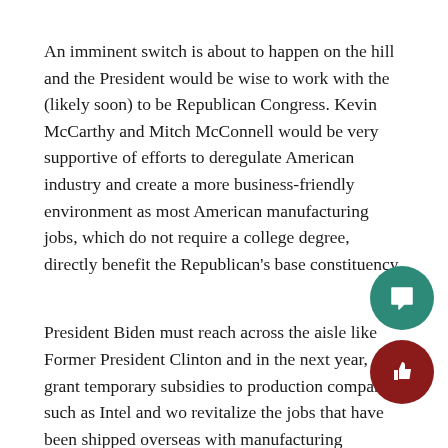An imminent switch is about to happen on the hill and the President would be wise to work with the (likely soon) to be Republican Congress. Kevin McCarthy and Mitch McConnell would be very supportive of efforts to deregulate American industry and create a more business-friendly environment as most American manufacturing jobs, which do not require a college degree, directly benefit the Republican's base constituency.
President Biden must reach across the aisle like Former President Clinton and in the next year, grant temporary subsidies to production companies such as Intel and wo… revitalize the jobs that have been shipped overseas with… manufacturing allowing for the tax base of the country to… expand and leading to more tax contributions individual… While I normally oppose government subsidies, in this…